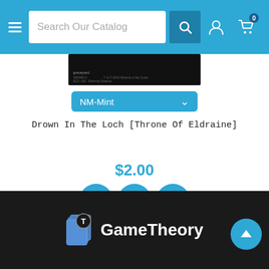Search Our Catalog
[Figure (other): Trading card image (Drown in the Loch, Throne of Eldraine) partially visible at top]
NM-Mint
Drown In The Loch [Throne Of Eldraine]
$2.00
[Figure (other): Three blue circular action buttons: eye/view, heart/wishlist, shopping cart]
[Figure (other): Two empty pagination circles]
GameTheory
[Figure (logo): GameTheory logo with book icon]